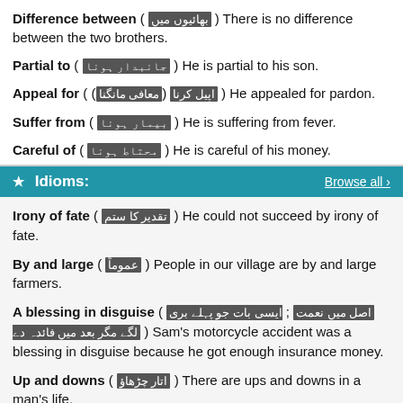Difference between ( [urdu] ) There is no difference between the two brothers.
Partial to ( [urdu] ) He is partial to his son.
Appeal for ( [urdu] ([urdu]) ) He appealed for pardon.
Suffer from ( [urdu] ) He is suffering from fever.
Careful of ( [urdu] ) He is careful of his money.
★ Idioms:   Browse all ›
Irony of fate ( [urdu] ) He could not succeed by irony of fate.
By and large ( [urdu] ) People in our village are by and large farmers.
A blessing in disguise ( [urdu] ; [urdu] ) Sam's motorcycle accident was a blessing in disguise because he got enough insurance money.
Up and downs ( [urdu] ) There are ups and downs in a man's life.